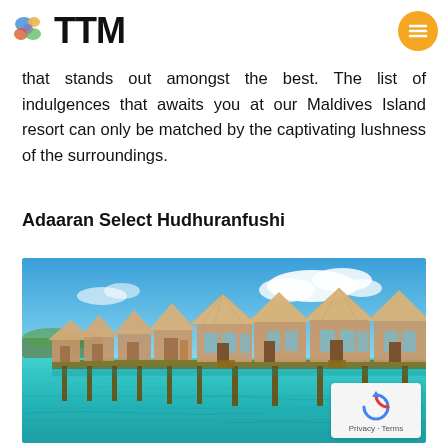TTM
that stands out amongst the best. The list of indulgences that awaits you at our Maldives Island resort can only be matched by the captivating lushness of the surroundings.
Adaaran Select Hudhuranfushi
[Figure (photo): Over-water bungalows with thatched roofs on stilts above turquoise lagoon water in the Maldives, blue sky with clouds in the background]